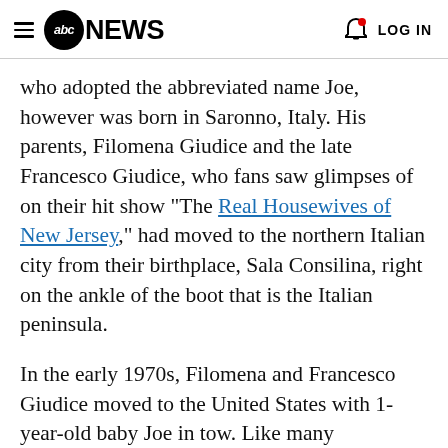abc NEWS  LOG IN
who adopted the abbreviated name Joe, however was born in Saronno, Italy. His parents, Filomena Giudice and the late Francesco Giudice, who fans saw glimpses of on their hit show "The Real Housewives of New Jersey," had moved to the northern Italian city from their birthplace, Sala Consilina, right on the ankle of the boot that is the Italian peninsula.
In the early 1970s, Filomena and Francesco Giudice moved to the United States with 1-year-old baby Joe in tow. Like many immigrants, it was the lure of the American